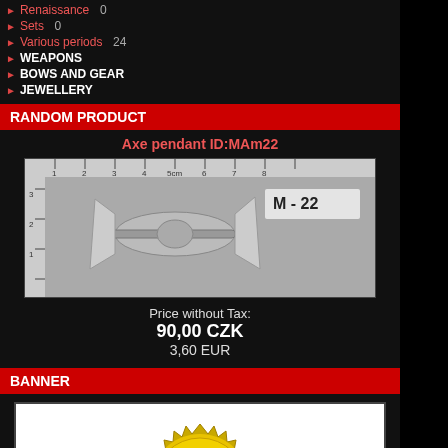Renaissance  0
Sets  0
Various periods  24
WEAPONS
BOWS AND GEAR
JEWELLERY
RANDOM PRODUCT
Axe pendant ID:MAm22
[Figure (photo): Axe pendant product photo showing a small metal double-headed axe pendant labeled M-22, photographed against a ruler background]
Price without Tax:
90,00 CZK
3,60 EUR
BANNER
[Figure (logo): PayPal Verified badge with gold seal, PayPal logo text, and credit card logos: MasterCard, Visa, AMEX, Discover]